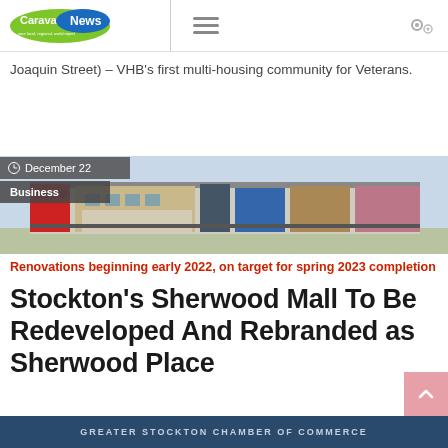CaravanNews
Joaquin Street) – VHB's first multi-housing community for Veterans.
[Figure (photo): Exterior rendering of a strip mall/shopping center showing storefronts with colored facades]
December 22
Business
Renovations beginning early 2022, on target for spring 2023 completion
Stockton's Sherwood Mall To Be Redeveloped And Rebranded as Sherwood Place
GREATER STOCKTON CHAMBER OF COMMERCE